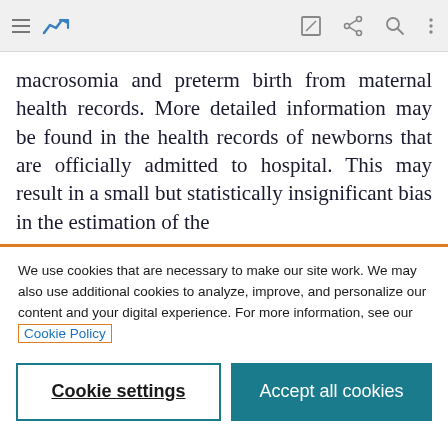[Navigation bar with menu, chart icon, edit, share, search, more icons]
macrosomia and preterm birth from maternal health records. More detailed information may be found in the health records of newborns that are officially admitted to hospital. This may result in a small but statistically insignificant bias in the estimation of the
We use cookies that are necessary to make our site work. We may also use additional cookies to analyze, improve, and personalize our content and your digital experience. For more information, see our Cookie Policy
Cookie settings
Accept all cookies